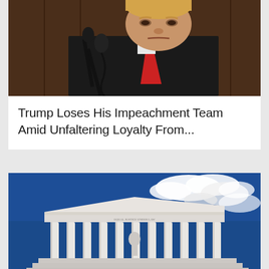[Figure (photo): Close-up photo of Donald Trump in a dark suit with red tie at a podium with microphones, looking serious, in front of a wood-paneled background]
Trump Loses His Impeachment Team Amid Unfaltering Loyalty From...
[Figure (photo): Low-angle photo of the United States Supreme Court building with white marble columns and classical architecture against a blue sky with white clouds]